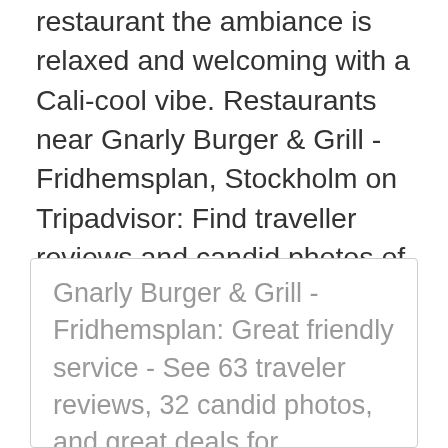restaurant the ambiance is relaxed and welcoming with a Cali-cool vibe. Restaurants near Gnarly Burger & Grill - Fridhemsplan, Stockholm on Tripadvisor: Find traveller reviews and candid photos of dining near Gnarly Burger & Grill - Fridhemsplan in Stockholm, Sweden. Discover Gnarly Burger Fridhemsplan's menu in Stockholm on TheFork: find starters, main courses, desserts, special menus and more!
Gnarly Burger & Grill - Fridhemsplan: Great friendly service - See 63 traveler reviews, 32 candid photos, and great deals for Stockholm, Sweden, at Tripadvisor. Restaurants near Gnarly Burger & Grill - Fridhemsplan, Stockholm on Tripadvisor: Find traveler reviews and candid photos of dining near Gnarly Burger